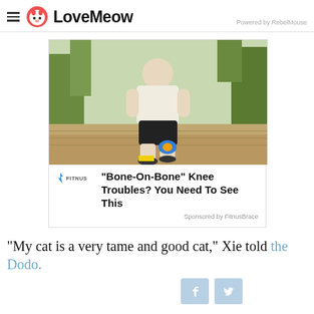LoveMeow — Powered by RebelMouse
[Figure (photo): Advertisement photo: man in athletic wear doing a lunge exercise outdoors, wearing a blue knee brace on his right knee. Background shows trees and a paved outdoor area.]
"Bone-On-Bone" Knee Troubles? You Need To See This
Sponsored by FitnusBrace
"My cat is a very tame and good cat," Xie told the Dodo.